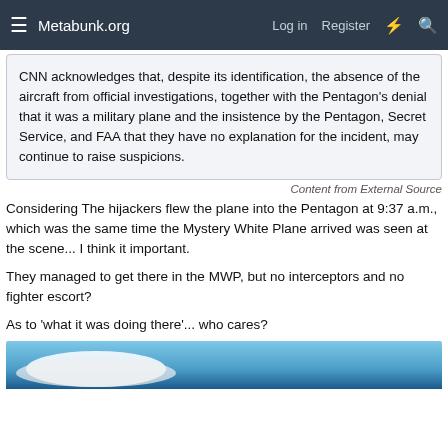Metabunk.org   Log in   Register
CNN acknowledges that, despite its identification, the absence of the aircraft from official investigations, together with the Pentagon's denial that it was a military plane and the insistence by the Pentagon, Secret Service, and FAA that they have no explanation for the incident, may continue to raise suspicions.
Content from External Source
Considering The hijackers flew the plane into the Pentagon at 9:37 a.m., which was the same time the Mystery White Plane arrived was seen at the scene... I think it important.
They managed to get there in the MWP, but no interceptors and no fighter escort?
As to 'what it was doing there'... who cares?
[Figure (photo): Partial view of a white aircraft against a blue sky, cropped at bottom of page]